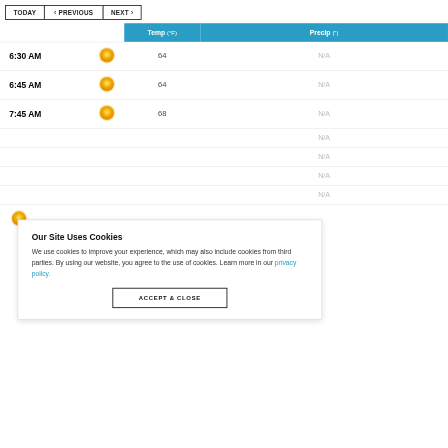TODAY  < PREVIOUS  NEXT >
|  |  | Temp (°F) | Precip (") |
| --- | --- | --- | --- |
| 6:30 AM | [sun icon] | 64 | N/A |
| 6:45 AM | [sun icon] | 64 | N/A |
| 7:45 AM | [sun icon] | 68 | N/A |
|  |  |  | N/A |
|  |  |  | N/A |
|  |  |  | N/A |
|  |  |  | N/A |
Our Site Uses Cookies
We use cookies to improve your experience, which may also include cookies from third parties. By using our website, you agree to the use of cookies. Learn more in our privacy policy.
[ACCEPT & CLOSE]